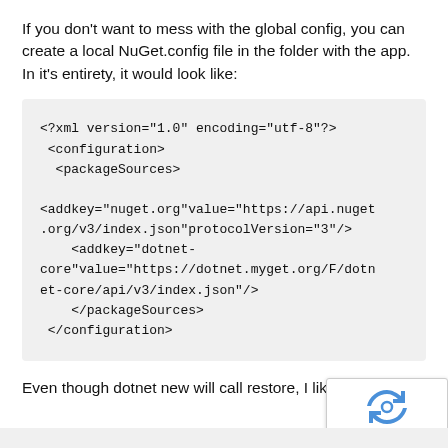If you don't want to mess with the global config, you can create a local NuGet.config file in the folder with the app. In it's entirety, it would look like:
<?xml version="1.0" encoding="utf-8"?>
 <configuration>
  <packageSources>

<addkey="nuget.org"value="https://api.nuget.org/v3/index.json"protocolVersion="3"/>
    <addkey="dotnet-core"value="https://dotnet.myget.org/F/dotnet-core/api/v3/index.json"/>
    </packageSources>
 </configuration>
Even though dotnet new will call restore, I like to ca